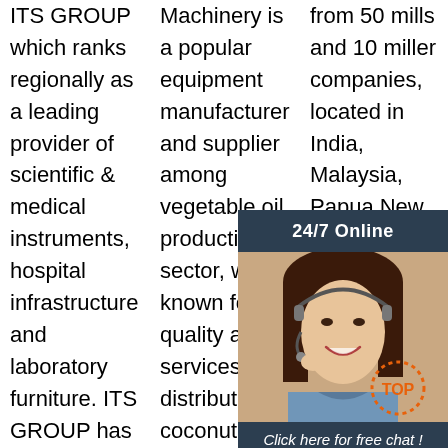ITS GROUP which ranks regionally as a leading provider of scientific & medical instruments, hospital infrastructure and laboratory furniture. ITS GROUP has more than 40 years of experience in providing a
Machinery is a popular equipment manufacturer and supplier among vegetable oil production sector, well known for quality and services, distributing coconut oil pressing machine including screw
from 50 mills and 10 miller companies, located in India, Malaysia, Papua New Guinea, Ghana, Solomon Islands, by country (as of 2014): Country Number of mills Number of millers
[Figure (screenshot): Chat widget overlay with dark header '24/7 Online', photo of a woman with headset, italic text 'Click here for free chat!', and orange QUOTATION button]
[Figure (logo): Orange TOP badge/logo with dotted circle]